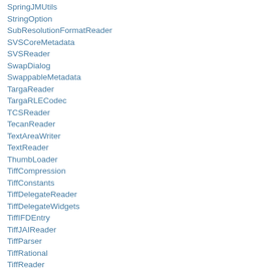SpringJMUtils
StringOption
SubResolutionFormatReader
SVSCoreMetadata
SVSReader
SwapDialog
SwappableMetadata
TargaReader
TargaRLECodec
TCSReader
TecanReader
TextAreaWriter
TextReader
ThumbLoader
TiffCompression
TiffConstants
TiffDelegateReader
TiffDelegateWidgets
TiffIFDEntry
TiffJAIReader
TiffParser
TiffRational
TiffReader
TiffSaver
TiffWriter
TileJPEGReader
TileStitcher
TillVisionReader
Tl